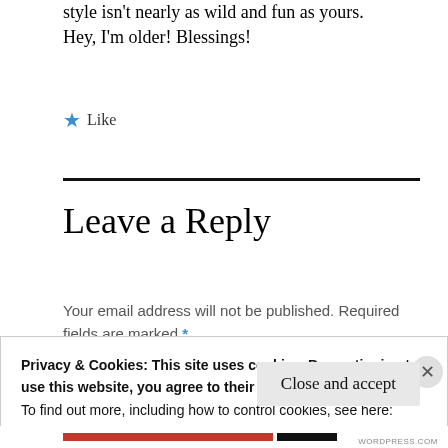style isn't nearly as wild and fun as yours. Hey, I'm older! Blessings!
★ Like
Leave a Reply
Your email address will not be published. Required fields are marked *
Privacy & Cookies: This site uses cookies. By continuing to use this website, you agree to their use.
To find out more, including how to control cookies, see here:
Cookie Policy
Close and accept